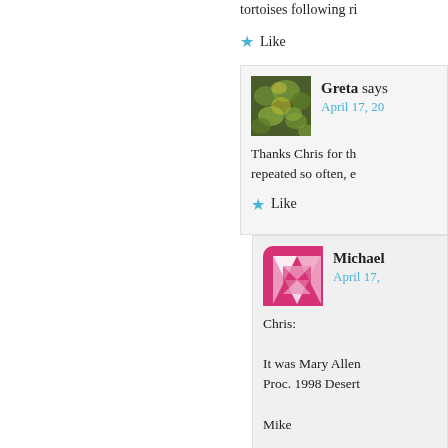tortoises following ri
★ Like
Greta says April 17, 20
Thanks Chris for th repeated so often, e
★ Like
Michael April 17,
Chris:

It was Mary Allen Proc. 1998 Desert

Mike
★ Like